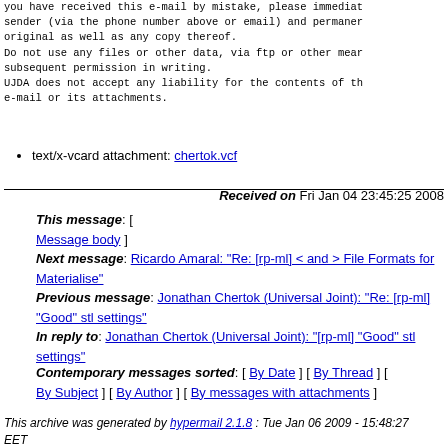you have received this e-mail by mistake, please immediately notify the sender (via the phone number above or email) and permanently delete the original as well as any copy thereof.
Do not use any files or other data, via ftp or other means, without subsequent permission in writing.
UJDA does not accept any liability for the contents of this e-mail or its attachments.
text/x-vcard attachment: chertok.vcf
Received on Fri Jan 04 23:45:25 2008
This message: [ Message body ]
Next message: Ricardo Amaral: "Re: [rp-ml] < and > File Formats for Materialise"
Previous message: Jonathan Chertok (Universal Joint): "Re: [rp-ml] "Good" stl settings"
In reply to: Jonathan Chertok (Universal Joint): "[rp-ml] "Good" stl settings"
Contemporary messages sorted: [ By Date ] [ By Thread ] [ By Subject ] [ By Author ] [ By messages with attachments ]
This archive was generated by hypermail 2.1.8 : Tue Jan 06 2009 - 15:48:27 EET